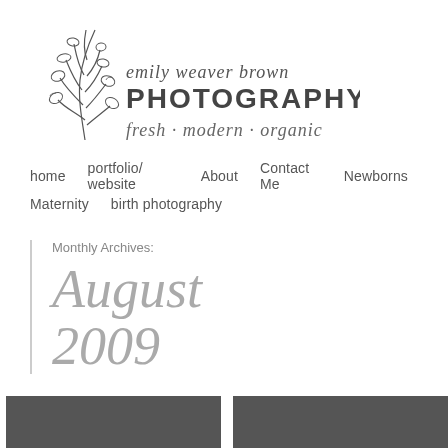[Figure (logo): Emily Weaver Brown Photography logo with botanical line drawing and script/serif text reading 'emily weaver brown PHOTOGRAPHY fresh · modern · organic']
home   portfolio/ website   About   Contact Me   Newborns   Maternity   birth photography
Monthly Archives:
August 2009
[Figure (photo): Two dark gray photo placeholder boxes at the bottom of the page]